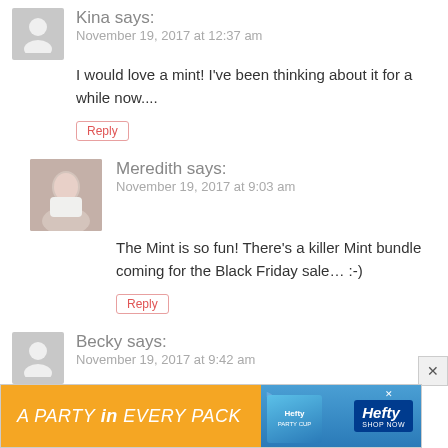[Figure (illustration): Gray avatar silhouette icon for user Kina]
Kina says:
November 19, 2017 at 12:37 am
I would love a mint! I've been thinking about it for a while now....
Reply
[Figure (photo): Profile photo of Meredith, woman with brown hair]
Meredith says:
November 19, 2017 at 9:03 am
The Mint is so fun! There's a killer Mint bundle coming for the Black Friday sale… ;-)
Reply
[Figure (illustration): Gray avatar silhouette icon for user Becky]
Becky says:
November 19, 2017 at 9:42 am
I'm SO excited about this sale, signed up for the email. Perfect timing since I just asked for one for Christmas
[Figure (infographic): Advertisement banner: A PARTY in EVERY PACK — Hefty brand ad with orange background and product image]